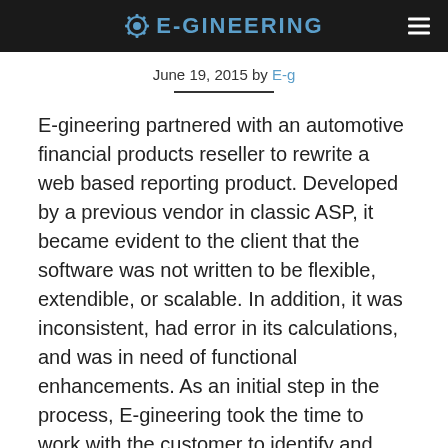E-GINEERING
June 19, 2015 by E-g
E-gineering partnered with an automotive financial products reseller to rewrite a web based reporting product. Developed by a previous vendor in classic ASP, it became evident to the client that the software was not written to be flexible, extendible, or scalable. In addition, it was inconsistent, had error in its calculations, and was in need of functional enhancements. As an initial step in the process, E-gineering took the time to work with the customer to identify and codify the features. [continue]